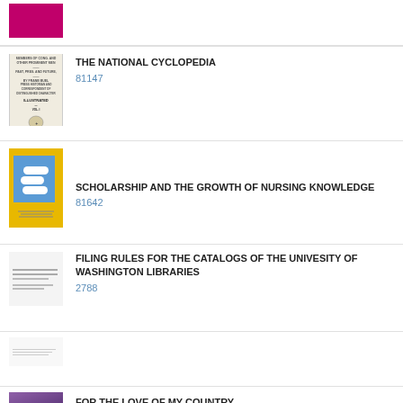[Figure (photo): Partial magenta/pink book cover at top of page]
[Figure (photo): Old typeset book cover for The National Cyclopedia]
THE NATIONAL CYCLOPEDIA
81147
[Figure (illustration): Yellow and blue book cover for Scholarship and the Growth of Nursing Knowledge, featuring white cloud shapes on a blue cube]
SCHOLARSHIP AND THE GROWTH OF NURSING KNOWLEDGE
81642
[Figure (photo): Faded/blurred small thumbnail for Filing Rules for the Catalogs of the University of Washington Libraries]
FILING RULES FOR THE CATALOGS OF THE UNIVESITY OF WASHINGTON LIBRARIES
2788
[Figure (photo): Small faded text-based thumbnail]
[Figure (photo): Purple/violet book cover with person, for For the Love of My Country]
FOR THE LOVE OF MY COUNTRY
68754